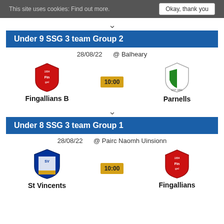This site uses cookies: Find out more. | Okay, thank you
Under 9 SSG 3 team Group 2
28/08/22   @ Balheary
Fingallians B  10:00  Parnells
Under 8 SSG 3 team Group 1
28/08/22   @ Pairc Naomh Uinsionn
St Vincents  10:00  Fingallians